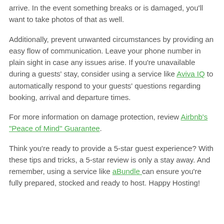arrive. In the event something breaks or is damaged, you'll want to take photos of that as well.
Additionally, prevent unwanted circumstances by providing an easy flow of communication. Leave your phone number in plain sight in case any issues arise. If you're unavailable during a guests' stay, consider using a service like Aviva IQ to automatically respond to your guests' questions regarding booking, arrival and departure times.
For more information on damage protection, review Airbnb's "Peace of Mind" Guarantee.
Think you're ready to provide a 5-star guest experience? With these tips and tricks, a 5-star review is only a stay away. And remember, using a service like aBundle can ensure you're fully prepared, stocked and ready to host. Happy Hosting!